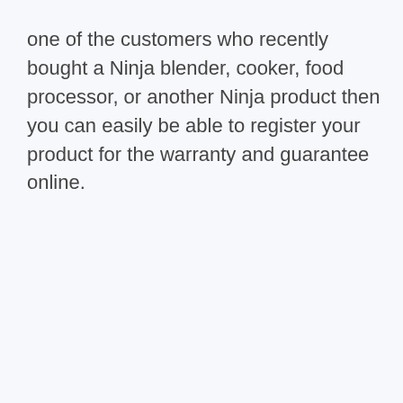one of the customers who recently bought a Ninja blender, cooker, food processor, or another Ninja product then you can easily be able to register your product for the warranty and guarantee online.